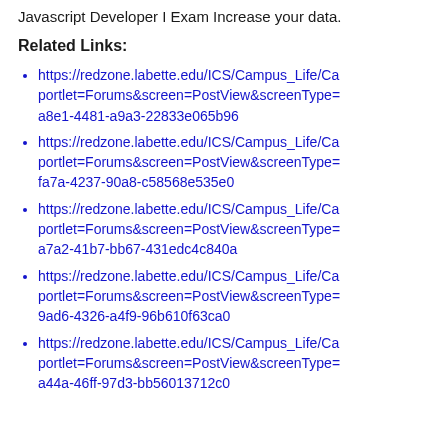Javascript Developer I Exam Increase your data.
Related Links:
https://redzone.labette.edu/ICS/Campus_Life/Ca...portlet=Forums&screen=PostView&screenType=...a8e1-4481-a9a3-22833e065b96
https://redzone.labette.edu/ICS/Campus_Life/Ca...portlet=Forums&screen=PostView&screenType=...fa7a-4237-90a8-c58568e535e0
https://redzone.labette.edu/ICS/Campus_Life/Ca...portlet=Forums&screen=PostView&screenType=...a7a2-41b7-bb67-431edc4c840a
https://redzone.labette.edu/ICS/Campus_Life/Ca...portlet=Forums&screen=PostView&screenType=...9ad6-4326-a4f9-96b610f63ca0
https://redzone.labette.edu/ICS/Campus_Life/Ca...portlet=Forums&screen=PostView&screenType=...a44a-46ff-97d3-bb56013712c0